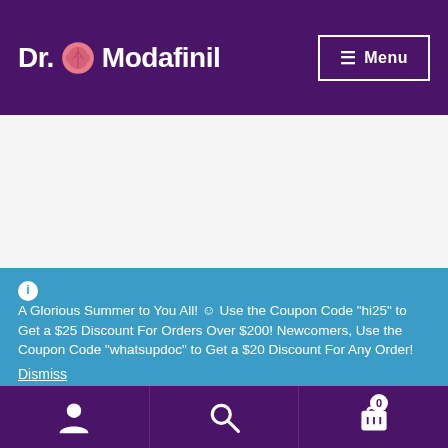Dr. Modafinil — Menu
A Glorious Summer to You All! 😊 Use the Coupon Code "hi25" to Get a $25 Discount For Orders Over $200! Newcomers, Use the Coupon Code "whatsupdoc" to Get a $20 Discount For Any Order!
Dismiss